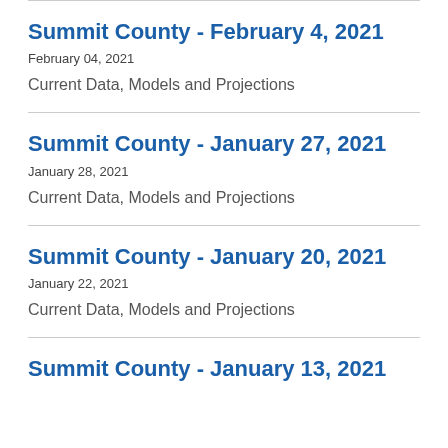Summit County - February 4, 2021
February 04, 2021
Current Data, Models and Projections
Summit County - January 27, 2021
January 28, 2021
Current Data, Models and Projections
Summit County - January 20, 2021
January 22, 2021
Current Data, Models and Projections
Summit County - January 13, 2021